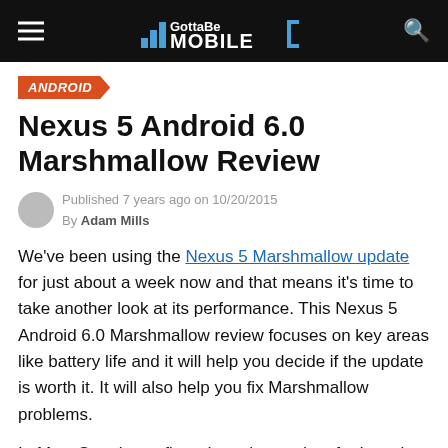GottaBeMOBILE
ANDROID
Nexus 5 Android 6.0 Marshmallow Review
Published 7 years ago on 10/20/2015
By Adam Mills
We've been using the Nexus 5 Marshmallow update for just about a week now and that means it's time to take another look at its performance. This Nexus 5 Android 6.0 Marshmallow review focuses on key areas like battery life and it will help you decide if the update is worth it. It will also help you fix Marshmallow problems.
In May, Google confirmed another update for its aging former flagship, the Nexus 5. The Nexus 5 has received a ton of Android updates over the years though some have...